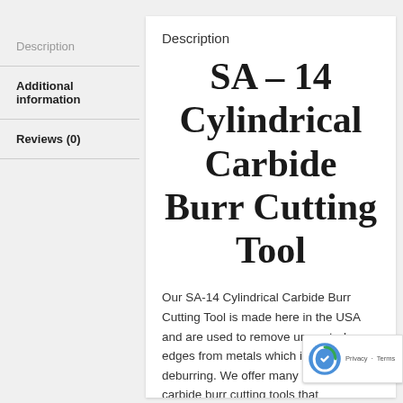Description
Additional information
Reviews (0)
Description
SA-14 Cylindrical Carbide Burr Cutting Tool
Our SA-14 Cylindrical Carbide Burr Cutting Tool is made here in the USA and are used to remove unwanted edges from metals which is called deburring. We offer many different sized carbide burr cutting tools that